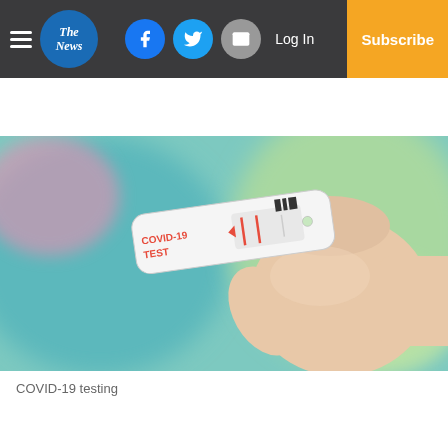The News | Log In | Subscribe
[Figure (photo): A gloved hand holding a COVID-19 rapid antigen test strip against a blurred teal/green background. The test strip reads 'COVID-19 TEST' in red lettering.]
COVID-19 testing